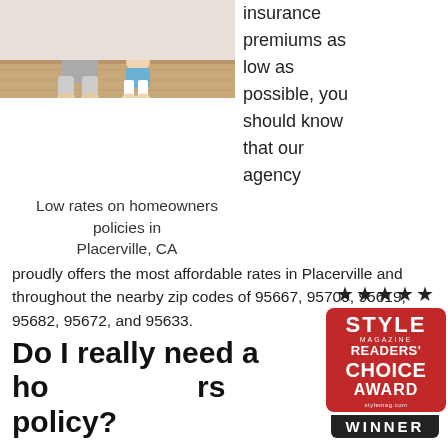[Figure (photo): Family sitting on wood floor - adult and baby/toddler with bare feet]
insurance premiums as low as possible, you should know that our agency proudly offers the most affordable rates in Placerville and throughout the nearby zip codes of 95667, 95709, 95619, 95682, 95672, and 95633.
Low rates on homeowners policies in Placerville, CA
Do I really need a homeowners policy?
The short answer is yes, you do. Homeowners insurance is a package policy that protects against financial loss if
[Figure (logo): Style Magazine Readers' Choice Award Winner badge with stars]